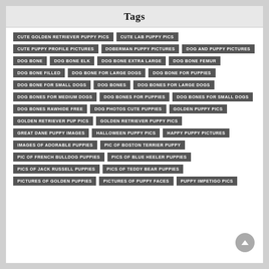Tags
CUTE GOLDEN RETRIEVER PUPPY PICS
CUTE LAB PUPPY PICS
CUTE PUPPY PROFILE PICTURES
DOBERMAN PUPPY PICTURES
DOG AND PUPPY PICTURES
DOG BONE
DOG BONE ELK
DOG BONE EXTRA LARGE
DOG BONE FEMUR
DOG BONE FILLED
DOG BONE FOR LARGE DOGS
DOG BONE FOR PUPPIES
DOG BONE FOR SMALL DOGS
DOG BONES
DOG BONES FOR LARGE DOGS
DOG BONES FOR MEDIUM DOGS
DOG BONES FOR PUPPIES
DOG BONES FOR SMALL DOGS
DOG BONES RAWHIDE FREE
DOG PHOTOS CUTE PUPPIES
GOLDEN PUPPY PICS
GOLDEN RETRIEVER PUP PICS
GOLDEN RETRIEVER PUPPY PICS
GREAT DANE PUPPY IMAGES
HALLOWEEN PUPPY PICS
HAPPY PUPPY PICTURES
IMAGES OF ADORABLE PUPPIES
PIC OF BOSTON TERRIER PUPPY
PIC OF FRENCH BULLDOG PUPPIES
PICS OF BLUE HEELER PUPPIES
PICS OF JACK RUSSELL PUPPIES
PICS OF TEDDY BEAR PUPPIES
PICTURES OF GOLDEN PUPPIES
PICTURES OF PUPPY FACES
PUPPY IMPETIGO PICS